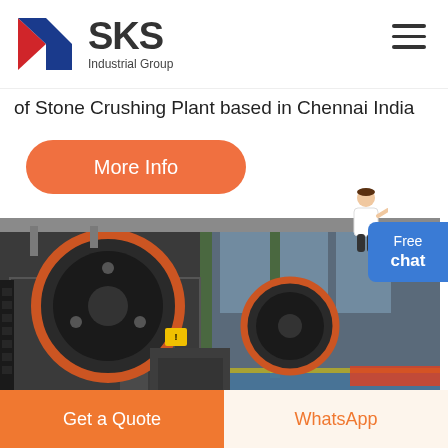[Figure (logo): SKS Industrial Group logo with red and blue K letter mark and bold SKS text]
of Stone Crushing Plant based in Chennai India
More Info
[Figure (photo): Industrial jaw crusher machine with large orange-rimmed flywheels in a factory setting with glass windows]
Free chat
Get a Quote
WhatsApp